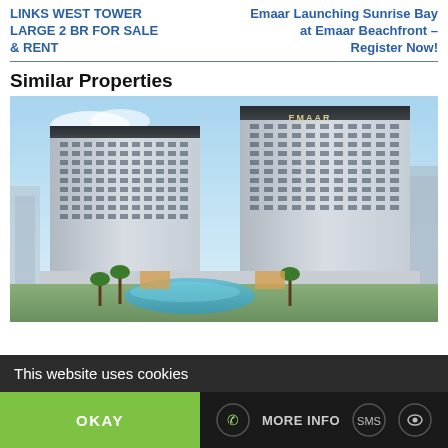LINKS WEST TOWER LARGE 2 BR FOR SALE & RENT
Emaar Launching Sunrise Bay at Emaar Beachfront – Register Now!
Similar Properties
[Figure (photo): Aerial rendering of a modern high-rise residential complex branded EMAAR, featuring two tall towers with a pool and landscaped area at the base.]
This website uses cookies
OKAY
MORE INFO